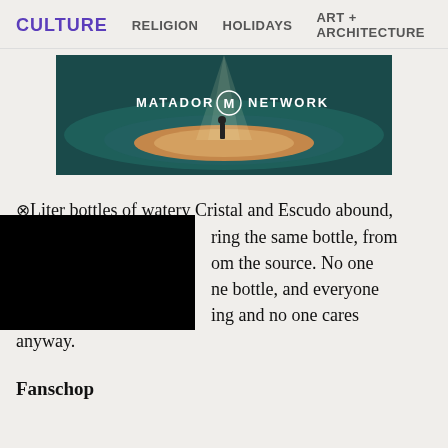CULTURE  RELIGION  HOLIDAYS  ART + ARCHITECTURE
[Figure (photo): Matador Network promotional image showing a person standing on an illuminated sandy island in dark water, with the Matador Network logo and wordmark overlaid]
Liter bottles of watery Cristal and Escudo abound, [obscured] ring the same bottle, from [obscured] om the source. No one [obscured] ne bottle, and everyone [obscured] ing and no one cares anyway.
Fanschop